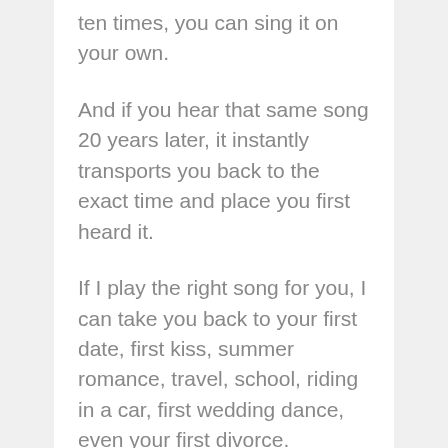ten times, you can sing it on your own.
And if you hear that same song 20 years later, it instantly transports you back to the exact time and place you first heard it.
If I play the right song for you, I can take you back to your first date, first kiss, summer romance, travel, school, riding in a car, first wedding dance, even your first divorce.
In the late ’60s, one of the singer-